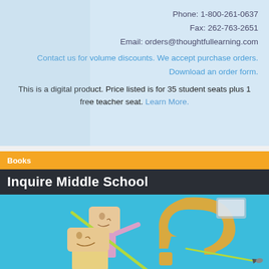Phone: 1-800-261-0637
Fax: 262-763-2651
Email: orders@thoughtfullearning.com
Contact us for volume discounts. We accept purchase orders.
Download an order form.
This is a digital product. Price listed is for 35 student seats plus 1 free teacher seat. Learn More.
Books
Inquire Middle School
[Figure (illustration): Cartoon illustration of animated characters (students with box-shaped heads) on a teal/cyan background with a large yellow question mark shape]